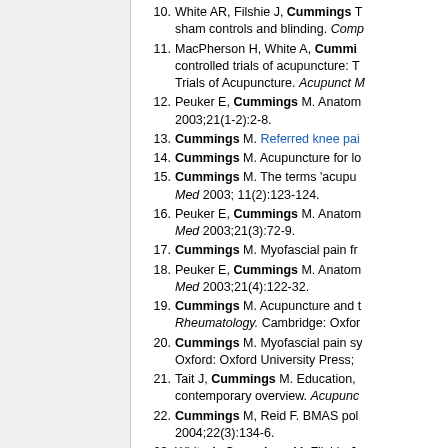10. White AR, Filshie J, Cummings sham controls and blinding. Comp
11. MacPherson H, White A, Cummi controlled trials of acupuncture: T Trials of Acupuncture. Acupunct M
12. Peuker E, Cummings M. Anatom 2003;21(1-2):2-8.
13. Cummings M. Referred knee pai
14. Cummings M. Acupuncture for lo
15. Cummings M. The terms 'acupu Med 2003; 11(2):123-124.
16. Peuker E, Cummings M. Anatom Med 2003;21(3):72-9.
17. Cummings M. Myofascial pain fr
18. Peuker E, Cummings M. Anatom Med 2003;21(4):122-32.
19. Cummings M. Acupuncture and Rheumatology. Cambridge: Oxfor
20. Cummings M. Myofascial pain sy Oxford: Oxford University Press;
21. Tait J, Cummings M. Education, contemporary overview. Acupunc
22. Cummings M, Reid F. BMAS pol 2004;22(3):134-6.
23. White A, Cummings M, Filshie J. the opinion of COPE. Acupunct M
24. Cummings M. Low back pain ass
25. Stener-Victorin E, Cummings M, review by Hyangsook Lee and Ec
26. Oomman S, Liu D, Cummings M thrombocytopenia--a case report.
27. Lindley S, Cummings TM. Essen